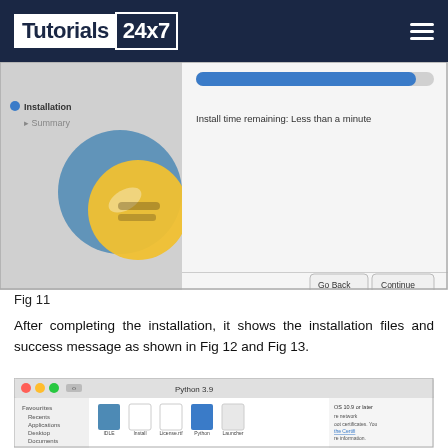Tutorials24x7
[Figure (screenshot): Python installer screenshot showing 'Installation' step in progress with message 'Install time remaining: Less than a minute' and Go Back / Continue buttons at the bottom]
Fig 11
After completing the installation, it shows the installation files and success message as shown in Fig 12 and Fig 13.
[Figure (screenshot): macOS Finder window showing Python 3.9 installation files including icons for IDLE, Install Certific...ommand, License.rtf, Python Docume...ent.html, Python Launcher, README.rtf, Update Shell Profile.command. Right panel shows text about OS 10.9 or later, network certificates. Left sidebar shows Favourites (Recents, Applications, Desktop, Documents, Downloads, Resources) and Locations (Network) and Tags (Red, Orange, Yellow, Green, Blue).]